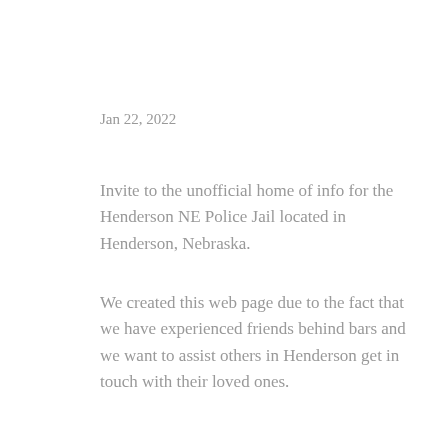Jan 22, 2022
Invite to the unofficial home of info for the Henderson NE Police Jail located in Henderson, Nebraska.
We created this web page due to the fact that we have experienced friends behind bars and we want to assist others in Henderson get in touch with their loved ones.